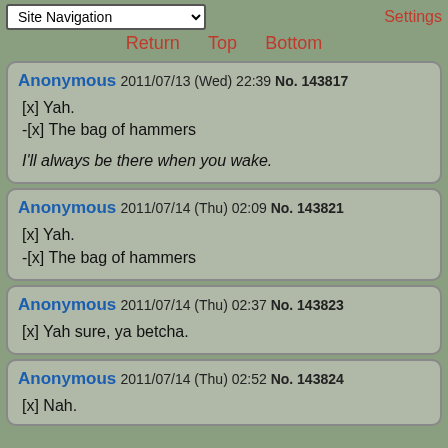Site Navigation | Settings | Return | Top | Bottom
Anonymous 2011/07/13 (Wed) 22:39 No. 143817
[x] Yah.
-[x] The bag of hammers
I'll always be there when you wake.
Anonymous 2011/07/14 (Thu) 02:09 No. 143821
[x] Yah.
-[x] The bag of hammers
Anonymous 2011/07/14 (Thu) 02:37 No. 143823
[x] Yah sure, ya betcha.
Anonymous 2011/07/14 (Thu) 02:52 No. 143824
[x] Nah.